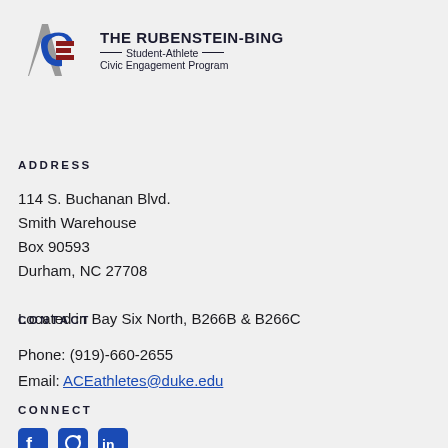[Figure (logo): ACE - The Rubenstein-Bing Student-Athlete Civic Engagement Program logo with stylized ACE letters in gray, blue and red, followed by the program name text]
ADDRESS
114 S. Buchanan Blvd.
Smith Warehouse
Box 90593
Durham, NC 27708

Located in Bay Six North, B266B & B266C
CONTACT
Phone: (919)-660-2655
Email: ACEathletes@duke.edu
CONNECT